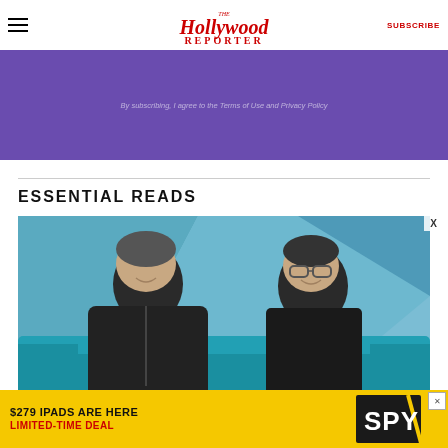The Hollywood Reporter — SUBSCRIBE
By subscribing, I agree to the Terms of Use and Privacy Policy
ESSENTIAL READS
[Figure (photo): Two men sitting on a teal couch laughing and talking, in front of a blue geometric background. One man on the left has grey-streaked hair and wears an all-black zip-up hoodie. The man on the right wears glasses and a black polo shirt.]
[Figure (infographic): Advertisement banner: '$279 IPADS ARE HERE LIMITED-TIME DEAL' with SPY logo on yellow background]